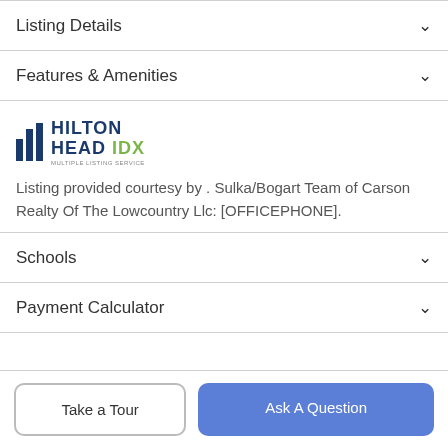Listing Details
Features & Amenities
[Figure (logo): Hilton Head IDX Multiple Listing Service logo]
Listing provided courtesy by . Sulka/Bogart Team of Carson Realty Of The Lowcountry Llc: [OFFICEPHONE].
Schools
Payment Calculator
Take a Tour
Ask A Question